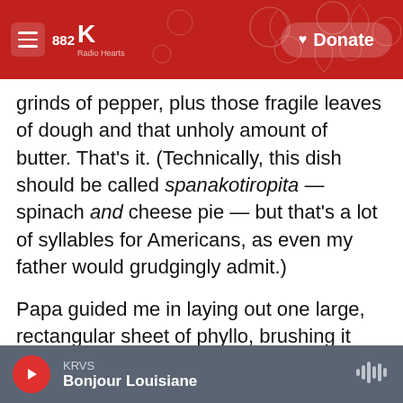[Figure (screenshot): NPR/radio station website header bar with red background, hamburger menu icon, 882 KRVS logo, radio hearts text, and a Donate button with heart icon]
grinds of pepper, plus those fragile leaves of dough and that unholy amount of butter. That's it. (Technically, this dish should be called spanakotiropita — spinach and cheese pie — but that's a lot of syllables for Americans, as even my father would grudgingly admit.)
Papa guided me in laying out one large, rectangular sheet of phyllo, brushing it with butter, and then swiftly laying another sheet on top. "Hurry up, cover the rest of the phyllo with the towel," he would say, reminding me that the dough would dry out and crack nearly instantaneously if it wasn't covered up
KRVS
Bonjour Louisiane